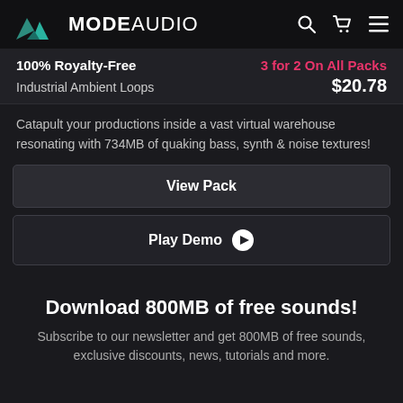MODE AUDIO
100% Royalty-Free | 3 for 2 On All Packs | Industrial Ambient Loops | $20.78
Catapult your productions inside a vast virtual warehouse resonating with 734MB of quaking bass, synth & noise textures!
View Pack
Play Demo
Download 800MB of free sounds!
Subscribe to our newsletter and get 800MB of free sounds, exclusive discounts, news, tutorials and more.